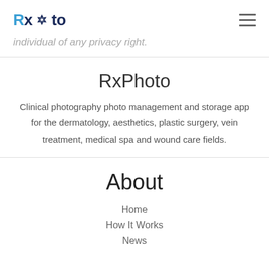RxPhoto
individual of any privacy right.
RxPhoto
Clinical photography photo management and storage app for the dermatology, aesthetics, plastic surgery, vein treatment, medical spa and wound care fields.
About
Home
How It Works
News